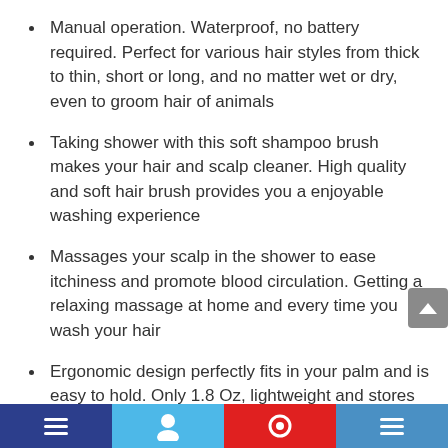Manual operation. Waterproof, no battery required. Perfect for various hair styles from thick to thin, short or long, and no matter wet or dry, even to groom hair of animals
Taking shower with this soft shampoo brush makes your hair and scalp cleaner. High quality and soft hair brush provides you a enjoyable washing experience
Massages your scalp in the shower to ease itchiness and promote blood circulation. Getting a relaxing massage at home and every time you wash your hair
Ergonomic design perfectly fits in your palm and is easy to hold. Only 1.8 Oz, lightweight and stores easily